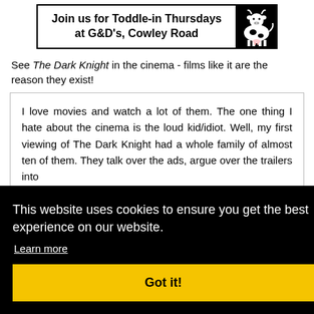[Figure (illustration): Advertisement banner: 'Join us for Toddle-in Thursdays at G&D's, Cowley Road' with a black and white cow illustration on the right side, bordered box.]
See The Dark Knight in the cinema - films like it are the reason they exist!
I love movies and watch a lot of them. The one thing I hate about the cinema is the loud kid/idiot. Well, my first viewing of The Dark Knight had a whole family of almost ten of them. They talk over the ads, argue over the trailers into ... came ... s and ... movie ... eir A- ... Heath ... heard ... e but ... ll be disappointed because this is simply world class acting. The
This website uses cookies to ensure you get the best experience on our website.
Learn more
Got it!